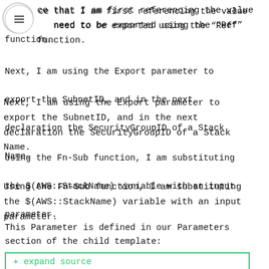ce that I am first referencing the value need to be exported using the “Ref” function.
Next, I am using the Export parameter to export the SubnetID, and in the next declaration the SecurityGroupID of a Stack Name.
Using the Fn-Sub function, I am substituting the $(AWS::StackName) variable with an input parameter.
This Parameter is defined in our Parameters section of the child template:
+ expand source
This is the complete child stack that will